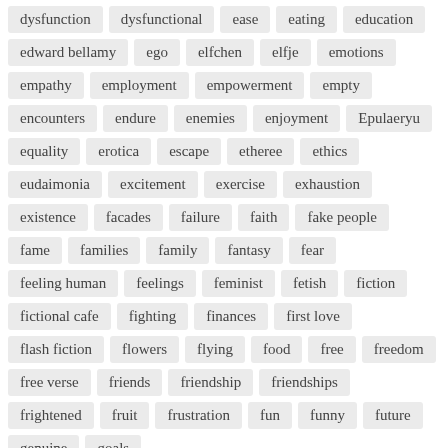dysfunction
dysfunctional
ease
eating
education
edward bellamy
ego
elfchen
elfje
emotions
empathy
employment
empowerment
empty
encounters
endure
enemies
enjoyment
Epulaeryu
equality
erotica
escape
etheree
ethics
eudaimonia
excitement
exercise
exhaustion
existence
facades
failure
faith
fake people
fame
families
family
fantasy
fear
feeling human
feelings
feminist
fetish
fiction
fictional cafe
fighting
finances
first love
flash fiction
flowers
flying
food
free
freedom
free verse
friends
friendship
friendships
frightened
fruit
frustration
fun
funny
future
genuine
goals